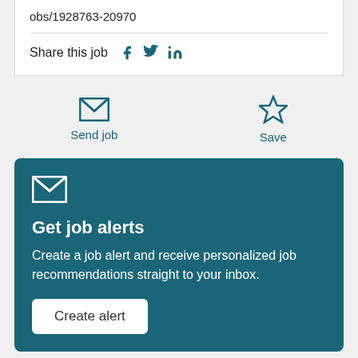obs/1928763-20970
Share this job
Send job
Save
[Figure (illustration): Envelope icon for Get job alerts section]
Get job alerts
Create a job alert and receive personalized job recommendations straight to your inbox.
Create alert